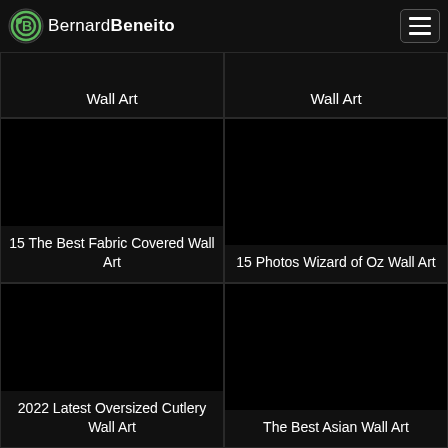BernardBeneito
Wall Art
Wall Art
[Figure (photo): Dark image thumbnail for article about Fabric Covered Wall Art]
15 The Best Fabric Covered Wall Art
[Figure (photo): Dark image thumbnail for article about Wizard of Oz Wall Art]
15 Photos Wizard of Oz Wall Art
[Figure (photo): Dark image thumbnail for article about Oversized Cutlery Wall Art]
2022 Latest Oversized Cutlery Wall Art
[Figure (photo): Dark image thumbnail for article about Asian Wall Art]
The Best Asian Wall Art